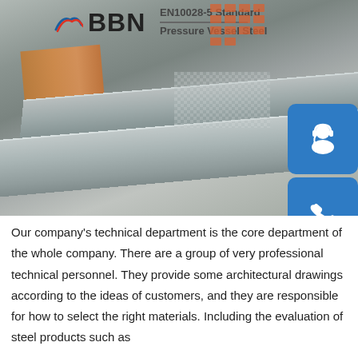[Figure (photo): Photo of steel plates stacked on the floor, with BBN company logo and 'EN10028-5 Standard Pressure Vessel Steel' text overlay at the top. Three blue buttons on the right side showing a customer service icon (headset), phone icon, and Skype icon. Orange dot grid pattern in top right. Checkered pattern on one of the steel plates.]
Our company's technical department is the core department of the whole company. There are a group of very professional technical personnel. They provide some architectural drawings according to the ideas of customers, and they are responsible for how to select the right materials. Including the evaluation of steel products such as